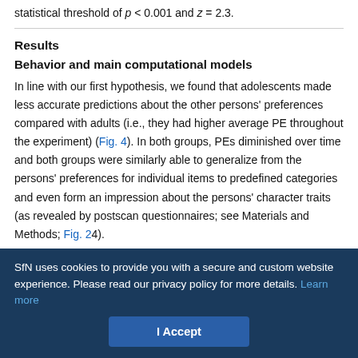statistical threshold of p < 0.001 and z = 2.3.
Results
Behavior and main computational models
In line with our first hypothesis, we found that adolescents made less accurate predictions about the other persons' preferences compared with adults (i.e., they had higher average PE throughout the experiment) (Fig. 4). In both groups, PEs diminished over time and both groups were similarly able to generalize from the persons' preferences for individual items to predefined categories and even form an impression about the persons' character traits (as revealed by postscan questionnaires; see Materials and Methods; Fig. 24).
SfN uses cookies to provide you with a secure and custom website experience. Please read our privacy policy for more details. Learn more